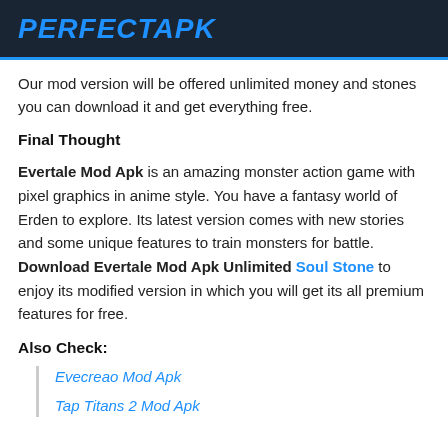PERFECTAPK
Our mod version will be offered unlimited money and stones you can download it and get everything free.
Final Thought
Evertale Mod Apk is an amazing monster action game with pixel graphics in anime style. You have a fantasy world of Erden to explore. Its latest version comes with new stories and some unique features to train monsters for battle. Download Evertale Mod Apk Unlimited Soul Stone to enjoy its modified version in which you will get its all premium features for free.
Also Check:
Evecreao Mod Apk
Tap Titans 2 Mod Apk